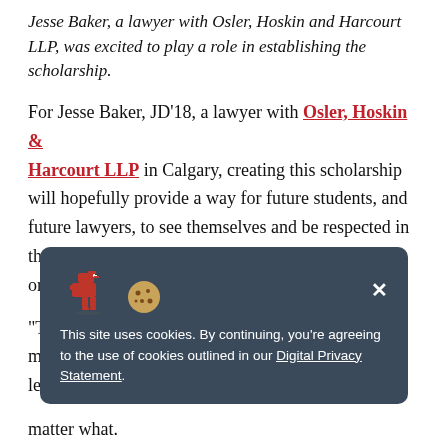Jesse Baker, a lawyer with Osler, Hoskin and Harcourt LLP, was excited to play a role in establishing the scholarship.
For Jesse Baker, JD'18, a lawyer with Osler, Hoskin & Harcourt LLP in Calgary, creating this scholarship will hopefully provide a way for future students, and future lawyers, to see themselves and be respected in the profession "regardless of gender identity, sexual orientation, or anything else."
"There are some unique barriers and challenges that members of the 2SLGBTQI+ community face in the legal
[Figure (screenshot): Cookie consent banner with a dinosaur and cookie emoji icons. Text reads: 'This site uses cookies. By continuing, you're agreeing to the use of cookies outlined in our Digital Privacy Statement.' with a close button (×) in the top right.]
matter what.